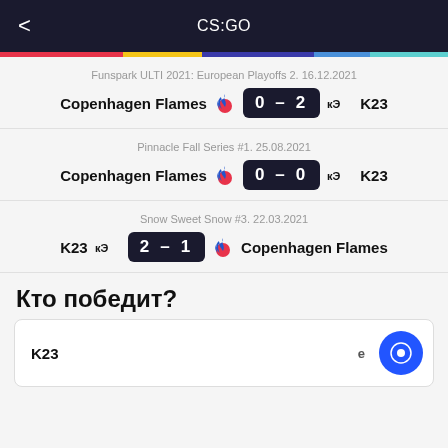CS:GO
Funspark ULTI 2021: European Playoffs 2. 16.12.2021
Copenhagen Flames 0 – 2 K23
Pinnacle Fall Series #1. 25.08.2021
Copenhagen Flames 0 – 0 K23
Snow Sweet Snow #3. 22.03.2021
K23 2 – 1 Copenhagen Flames
Кто победит?
K23